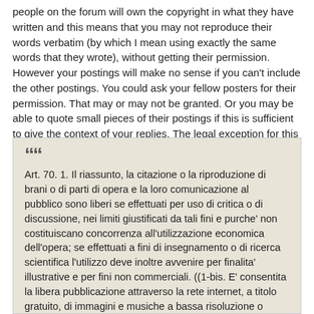people on the forum will own the copyright in what they have written and this means that you may not reproduce their words verbatim (by which I mean using exactly the same words that they wrote), without getting their permission. However your postings will make no sense if you can't include the other postings. You could ask your fellow posters for their permission. That may or may not be granted. Or you may be able to quote small pieces of their postings if this is sufficient to give the context of your replies. The legal exception for this purpose is contained in Article 70 of the Law no. 633 of 22 April 1941
Art. 70. 1. Il riassunto, la citazione o la riproduzione di brani o di parti di opera e la loro comunicazione al pubblico sono liberi se effettuati per uso di critica o di discussione, nei limiti giustificati da tali fini e purche' non costituiscano concorrenza all'utilizzazione economica dell'opera; se effettuati a fini di insegnamento o di ricerca scientifica l'utilizzo deve inoltre avvenire per finalita' illustrative e per fini non commerciali. ((1-bis. E' consentita la libera pubblicazione attraverso la rete internet, a titolo gratuito, di immagini e musiche a bassa risoluzione o degradate, per uso didattico o scientifico e solo nel caso in cui tale utilizzo non sia a scopo di lucro. Con decreto del Ministro per i beni e le attivita' culturali, sentiti il Ministro della pubblica istruzione e il Ministro dell'universita' e della ricerca, previo parere delle Commissioni parlamentari competenti, sono definiti i limiti all'uso didattico o scientifico di cui al presente comma)). 2. Nelle antologie ad uso